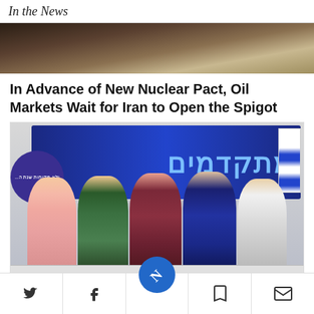In the News
[Figure (photo): Partial photo of industrial/infrastructure scene, brown and gray tones, top portion of image cropped]
In Advance of New Nuclear Pact, Oil Markets Wait for Iran to Open the Spigot
[Figure (photo): Group of five people standing and shaking hands in front of a blue banner with large Hebrew text reading מתקדמים. A circular purple logo is visible on the left. Israeli flags in background. People appear to be at a formal political event with a table in front.]
Social sharing toolbar with Twitter, Facebook, NYT logo, bookmark, and email icons